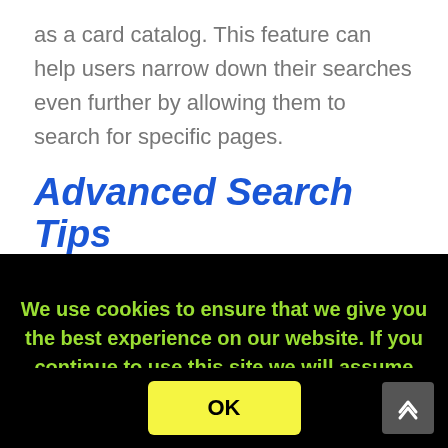as a card catalog. This feature can help users narrow down their searches even further by allowing them to search for specific pages.
Advanced Search Tips
If you’re wondering how to get the most relevant search results, here’s what you can do to improve
We use cookies to ensure that we give you the best experience on our website. If you continue to use this site we will assume that you are happy with it.